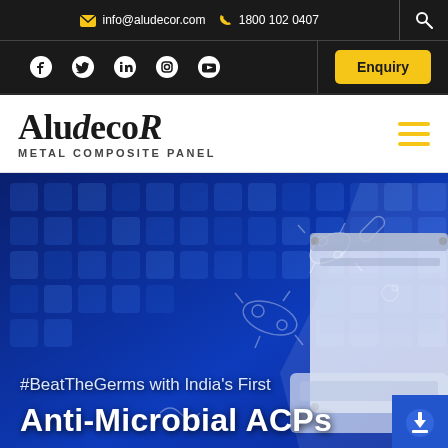info@aludecor.com  1800 102 0407
Facebook Twitter LinkedIn Instagram YouTube  Enquiry
AludecoR Metal Composite Panel
#BeatTheGerms with India's First
Anti-Microbial ACPs